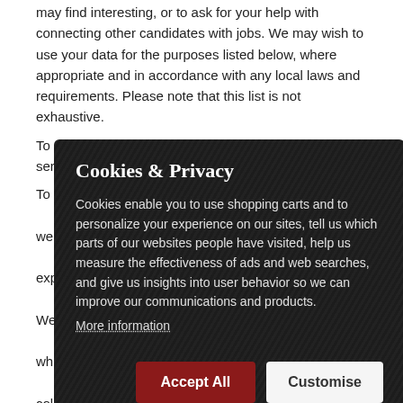may find interesting, or to ask for your help with connecting other candidates with jobs. We may wish to use your data for the purposes listed below, where appropriate and in accordance with any local laws and requirements. Please note that this list is not exhaustive.
To enable us to develop and market other products and services:
To c... we... exp... We... whi... coll... ma... the... opt... whe... sub... be...
services. Under 'soft opt-in' consent, we will take your
[Figure (screenshot): Cookies & Privacy modal dialog overlay with dark textured background. Title: 'Cookies & Privacy'. Body text explaining cookies usage. 'More information' dotted underline link. Two buttons: 'Accept All' (dark red) and 'Customise' (white/light).]